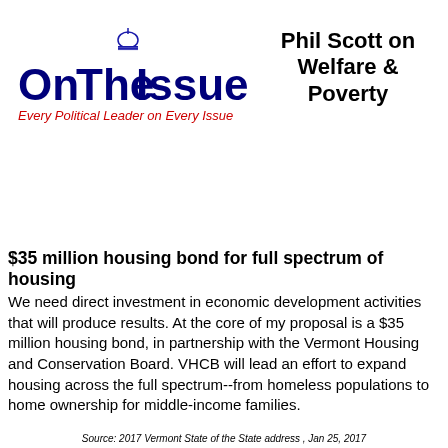[Figure (logo): OnTheIssues logo with capitol dome, dark blue text, red tagline 'Every Political Leader on Every Issue']
Phil Scott on Welfare & Poverty
$35 million housing bond for full spectrum of housing
We need direct investment in economic development activities that will produce results. At the core of my proposal is a $35 million housing bond, in partnership with the Vermont Housing and Conservation Board. VHCB will lead an effort to expand housing across the full spectrum--from homeless populations to home ownership for middle-income families.
Source: 2017 Vermont State of the State address , Jan 25, 2017